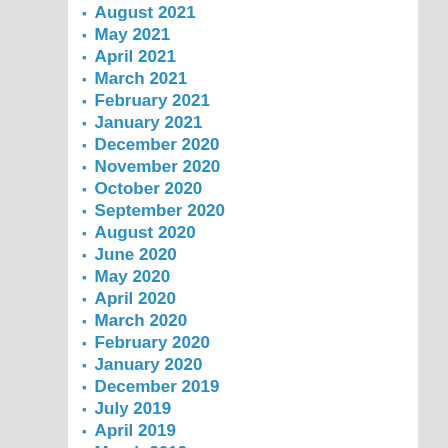August 2021
May 2021
April 2021
March 2021
February 2021
January 2021
December 2020
November 2020
October 2020
September 2020
August 2020
June 2020
May 2020
April 2020
March 2020
February 2020
January 2020
December 2019
July 2019
April 2019
March 2019
February 2019